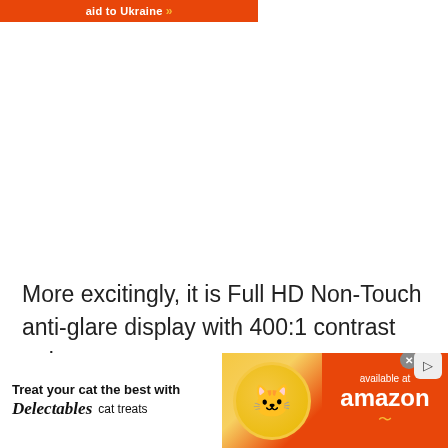[Figure (other): Orange/red banner button with white bold text 'aid to Ukraine' and double arrow chevron in gold/yellow color]
More excitingly, it is Full HD Non-Touch anti-glare display with 400:1 contrast ratio.
[Figure (other): Advertisement banner: 'Treat your cat the best with Delectables cat treats' on white left side, cat photo in golden circle in middle, 'available at amazon' on red right side, with close and play buttons at top right]